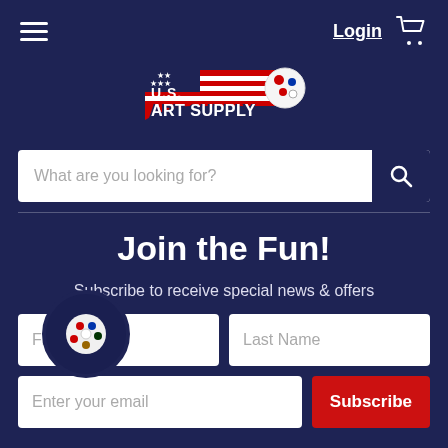Login | Cart
[Figure (logo): U.S. Art Supply logo with American flag and paint palette design]
What are you looking for?
Join the Fun!
Subscribe to receive special news & offers
First Name
Last Name
Enter your email
Subscribe